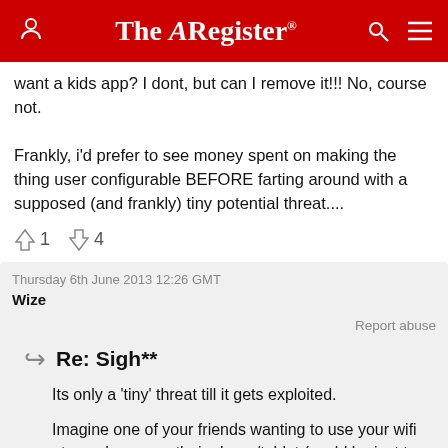The Register
want a kids app? I dont, but can I remove it!!! No, course not.
Frankly, i'd prefer to see money spent on making the thing user configurable BEFORE farting around with a supposed (and frankly) tiny potential threat....
↑1  ↓4
Thursday 6th June 2013 12:26 GMT
Wize
Report abuse
Re: Sigh**
Its only a 'tiny' threat till it gets exploited.
Imagine one of your friends wanting to use your wifi at your house on their phone/tablet (could be just to check in on the office as they are on call). Your TV could be infected if their phone is compromised